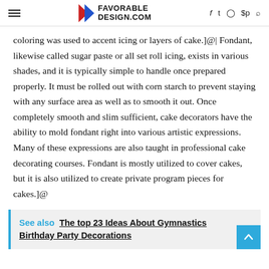FAVORABLE DESIGN.COM
coloring was used to accent icing or layers of cake.]@| Fondant, likewise called sugar paste or all set roll icing, exists in various shades, and it is typically simple to handle once prepared properly. It must be rolled out with corn starch to prevent staying with any surface area as well as to smooth it out. Once completely smooth and slim sufficient, cake decorators have the ability to mold fondant right into various artistic expressions. Many of these expressions are also taught in professional cake decorating courses. Fondant is mostly utilized to cover cakes, but it is also utilized to create private program pieces for cakes.]@
See also  The top 23 Ideas About Gymnastics Birthday Party Decorations